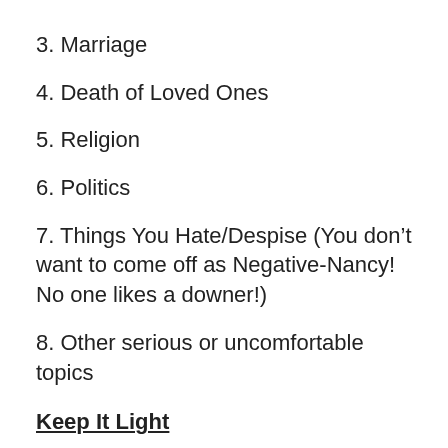3. Marriage
4. Death of Loved Ones
5. Religion
6. Politics
7. Things You Hate/Despise (You don’t want to come off as Negative-Nancy! No one likes a downer!)
8. Other serious or uncomfortable topics
Keep It Light
Stick to light-hearted topics on the first few dates.
If someone gives you all of themselves right there on the first dates, it’s A LOT to swallow and you may make some